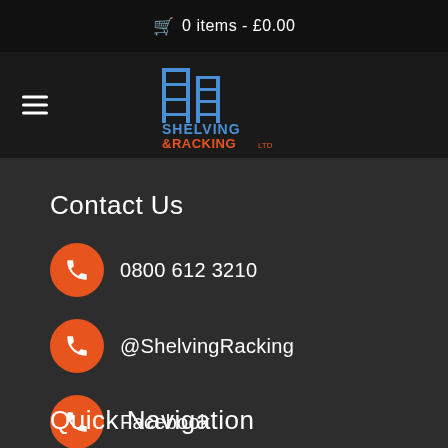🛒 0 items - £0.00
[Figure (logo): Shelving & Racking Ltd logo with blue and orange scaffolding/shelving graphic and text]
Contact Us
0800 612 3210
@ShelvingRacking
Facebook
Quick Navigation